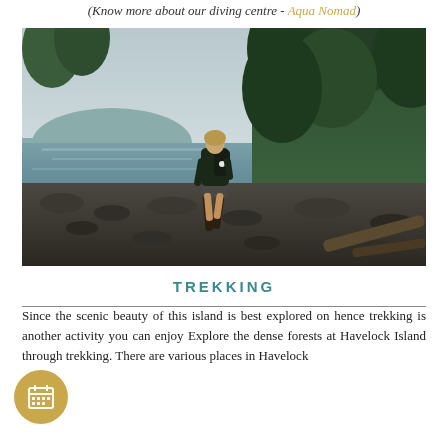(Know more about our diving centre - Aqua Nomad)
[Figure (photo): A woman with a backpack walking along a rocky shoreline with dense forest trees and misty water in the background, likely at Havelock Island]
TREKKING
Since the scenic beauty of this island is best explored on hence trekking is another activity you can enjoy Explore the dense forests at Havelock Island through trekking. There are various places in Havelock